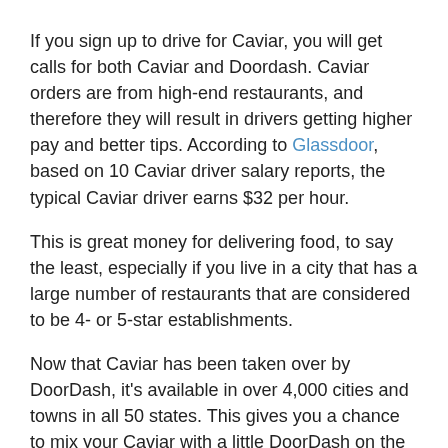If you sign up to drive for Caviar, you will get calls for both Caviar and Doordash. Caviar orders are from high-end restaurants, and therefore they will result in drivers getting higher pay and better tips. According to Glassdoor, based on 10 Caviar driver salary reports, the typical Caviar driver earns $32 per hour.
This is great money for delivering food, to say the least, especially if you live in a city that has a large number of restaurants that are considered to be 4- or 5-star establishments.
Now that Caviar has been taken over by DoorDash, it's available in over 4,000 cities and towns in all 50 states. This gives you a chance to mix your Caviar with a little DoorDash on the side if you happen to live somewhere that doesn't have a lot of fancy eateries. You can grab up a bit of the best of both worlds.